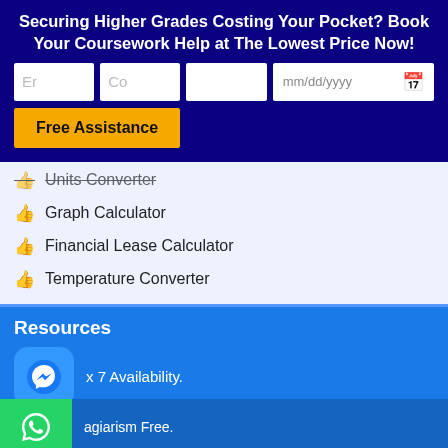Securing Higher Grades Costing Your Pocket? Book Your Coursework Help at The Lowest Price Now!
[Figure (screenshot): Web form with fields for email, course, blank fields, and date picker, plus a Free Assistance button]
Units Converter
Graph Calculator
Financial Lease Calculator
Temperature Converter
Resources
x 7 Availability.
Trained and Certified Experts.
adline Guaranteed.
agiarism Free.
Privacy Guaranteed.
Chat now